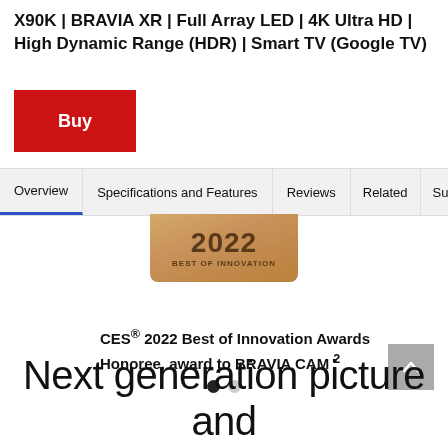X90K | BRAVIA XR | Full Array LED | 4K Ultra HD | High Dynamic Range (HDR) | Smart TV (Google TV)
Buy
Overview | Specifications and Features | Reviews | Related | Support
[Figure (other): CES 2022 Best of Innovation award badge in gold/bronze color]
CES® 2022 Best of Innovation Awards Honoree, award to BRAVIA CAM 2
Next generation picture and